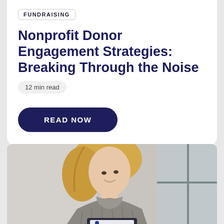FUNDRAISING
Nonprofit Donor Engagement Strategies: Breaking Through the Noise
12 min read
READ NOW
[Figure (photo): A blonde woman in a grey turtleneck sweater working on a laptop, photographed from above the shoulders]